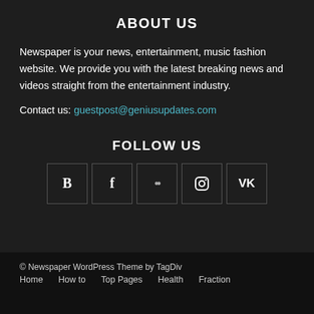ABOUT US
Newspaper is your news, entertainment, music fashion website. We provide you with the latest breaking news and videos straight from the entertainment industry.
Contact us: guestpost@geniusupdates.com
FOLLOW US
[Figure (other): Row of 5 social media icon buttons: Blogger (B), Facebook (f), Flickr (••), Instagram (camera icon), VKontakte (VK)]
© Newspaper WordPress Theme by TagDiv
Home   How to   Top Pages   Health   Fraction